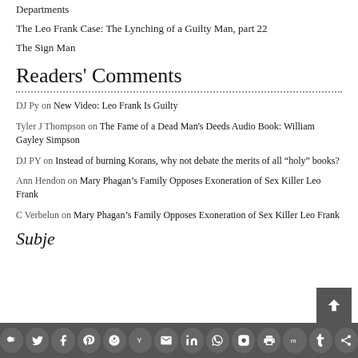Departments
The Leo Frank Case: The Lynching of a Guilty Man, part 22
The Sign Man
Readers' Comments
DJ Py on New Video: Leo Frank Is Guilty
Tyler J Thompson on The Fame of a Dead Man's Deeds Audio Book: William Gayley Simpson
DJ PY on Instead of burning Korans, why not debate the merits of all “holy” books?
Ann Hendon on Mary Phagan’s Family Opposes Exoneration of Sex Killer Leo Frank
C Verbelun on Mary Phagan’s Family Opposes Exoneration of Sex Killer Leo Frank
Subjects
Social sharing icons bar